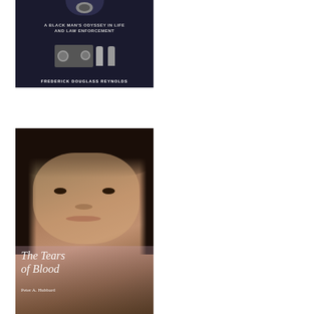[Figure (photo): Book cover: 'A Black Man's Odyssey in Life and Law Enforcement' by Frederick Douglass Reynolds. Dark background with police badge at top, handgun and bullet imagery in the center.]
[Figure (photo): Book cover: 'The Tears of Blood' by Peter A. Hubbard. Features a close-up portrait of a young Asian girl with bangs, looking at the camera. The title and author name appear in white italic text at the bottom of the cover.]